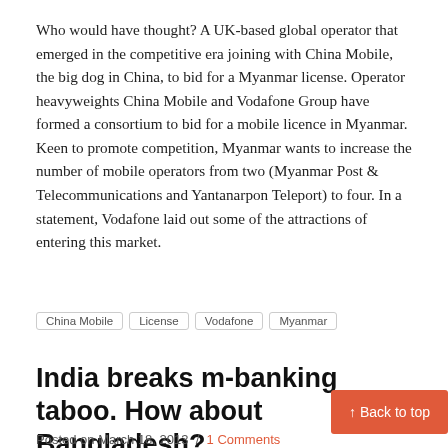Who would have thought? A UK-based global operator that emerged in the competitive era joining with China Mobile, the big dog in China, to bid for a Myanmar license. Operator heavyweights China Mobile and Vodafone Group have formed a consortium to bid for a mobile licence in Myanmar. Keen to promote competition, Myanmar wants to increase the number of mobile operators from two (Myanmar Post & Telecommunications and Yantanarpon Teleport) to four. In a statement, Vodafone laid out some of the attractions of entering this market.
China Mobile
License
Vodafone
Myanmar
India breaks m-banking taboo. How about Bangladesh?
Posted on March 18, 2013 / 1 Comments